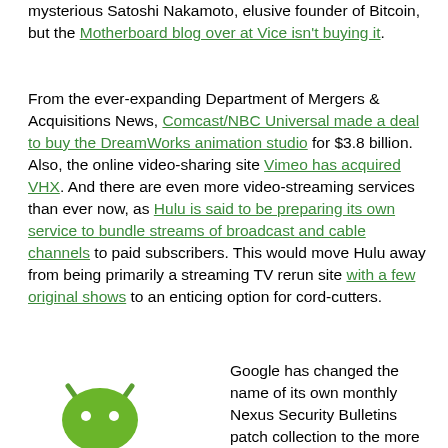mysterious Satoshi Nakamoto, elusive founder of Bitcoin, but the Motherboard blog over at Vice isn't buying it.
From the ever-expanding Department of Mergers & Acquisitions News, Comcast/NBC Universal made a deal to buy the DreamWorks animation studio for $3.8 billion. Also, the online video-sharing site Vimeo has acquired VHX. And there are even more video-streaming services than ever now, as Hulu is said to be preparing its own service to bundle streams of broadcast and cable channels to paid subscribers. This would move Hulu away from being primarily a streaming TV rerun site with a few original shows to an enticing option for cord-cutters.
[Figure (illustration): Android robot mascot dressed in a tuxedo/spy outfit holding a gun]
Google has changed the name of its own monthly Nexus Security Bulletins patch collection to the more inclusive Android